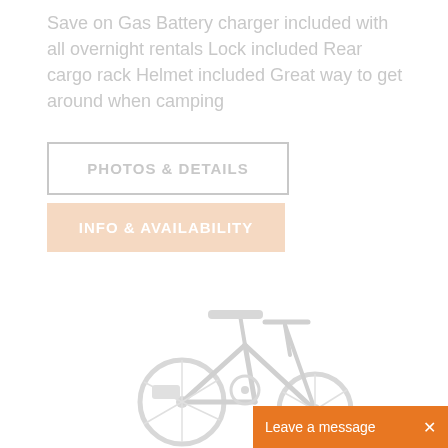Save on Gas Battery charger included with all overnight rentals Lock included Rear cargo rack Helmet included Great way to get around when camping
[Figure (other): Button with border labeled PHOTOS & DETAILS in uppercase gray letters]
[Figure (other): Button with orange/peach background labeled INFO & AVAILABILITY in uppercase white letters]
[Figure (photo): Faded/light image of an electric bicycle showing handlebars, seat, and frame in light gray tones]
Leave a message ×